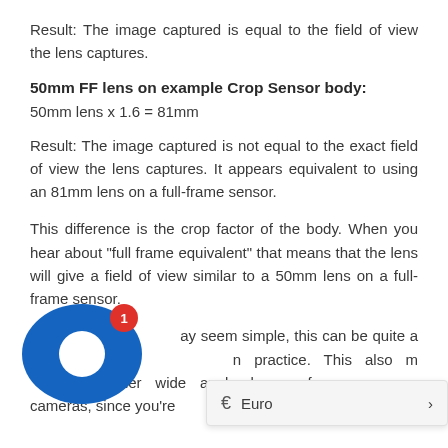Result: The image captured is equal to the field of view the lens captures.
50mm FF lens on example Crop Sensor body:
50mm lens x 1.6 = 81mm
Result: The image captured is not equal to the exact field of view the lens captures. It appears equivalent to using an 81mm lens on a full-frame sensor.
This difference is the crop factor of the body. When you hear about "full frame equivalent" that means that the lens will give a field of view similar to a 50mm lens on a full-frame sensor.
While this may seem simple, this can be quite a confusing concept in practice. This also means you need wider wide angle lenses for crop-sensor cameras, since you're